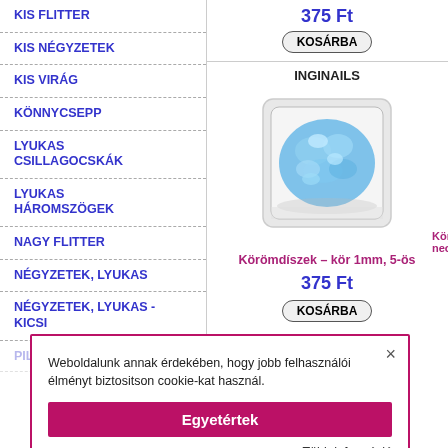KIS FLITTER
KIS NÉGYZETEK
KIS VIRÁG
KÖNNYCSEPP
LYUKAS CSILLAGOCSKÁK
LYUKAS HÁROMSZÖGEK
NAGY FLITTER
NÉGYZETEK, LYUKAS
NÉGYZETEK, LYUKAS - KICSI
375 Ft
KOSÁRBA
INGINAILS
[Figure (photo): Blue nail decoration glitter in a small square container]
Körömdíszek – kör 1mm, 5-ös
375 Ft
KOSÁRBA
Weboldalunk annak érdekében, hogy jobb felhasználói élményt biztositson cookie-kat használ.
Egyetértek
Több információ
1  2  Következő »
ALAKZATOK